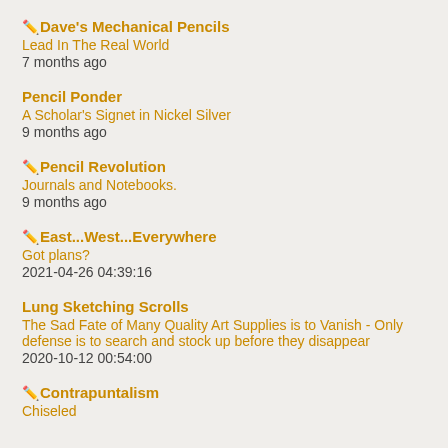✏️Dave's Mechanical Pencils
Lead In The Real World
7 months ago
Pencil Ponder
A Scholar's Signet in Nickel Silver
9 months ago
✏️Pencil Revolution
Journals and Notebooks.
9 months ago
✏️East...West...Everywhere
Got plans?
2021-04-26 04:39:16
Lung Sketching Scrolls
The Sad Fate of Many Quality Art Supplies is to Vanish - Only defense is to search and stock up before they disappear
2020-10-12 00:54:00
✏️Contrapuntalism
Chiseled